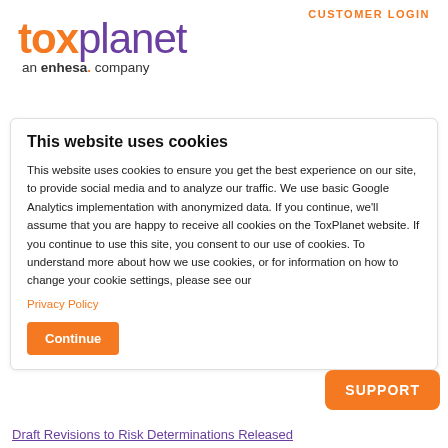CUSTOMER LOGIN
[Figure (logo): ToxPlanet logo — 'tox' in orange bold, 'planet' in purple regular, with tagline 'an enhesa. company' below]
This website uses cookies
This website uses cookies to ensure you get the best experience on our site, to provide social media and to analyze our traffic. We use basic Google Analytics implementation with anonymized data. If you continue, we'll assume that you are happy to receive all cookies on the ToxPlanet website. If you continue to use this site, you consent to our use of cookies. To understand more about how we use cookies, or for information on how to change your cookie settings, please see our
Privacy Policy
Continue
SUPPORT
Draft Revisions to Risk Determinations Released